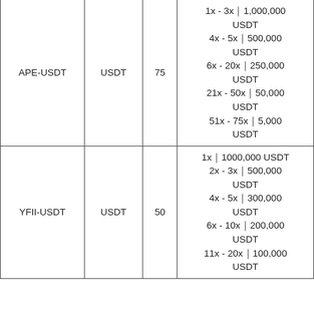| APE-USDT | USDT | 75 | 1x - 3x｜1,000,000 USDT
4x - 5x｜500,000 USDT
6x - 20x｜250,000 USDT
21x - 50x｜50,000 USDT
51x - 75x｜5,000 USDT |
| YFII-USDT | USDT | 50 | 1x｜1000,000 USDT
2x - 3x｜500,000 USDT
4x - 5x｜300,000 USDT
6x - 10x｜200,000 USDT
11x - 20x｜100,000 USDT |